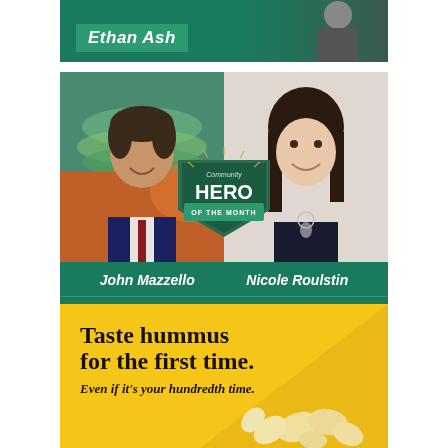[Figure (photo): Partial banner showing 'Ethan Ash' text label on green background with a man in suit partially visible]
[Figure (photo): Community Hero of the Month card with green background featuring photos of John Mazzello (man in suit with colorful artwork background) and Nicole Roulstin (woman with dark hair and necklace), a shield badge reading 'Community HERO OF THE MONTH' in center, presented by Tompkins Chamber and Tompkins bank]
[Figure (photo): Yellow advertisement for hummus with text 'Taste hummus for the first time. Even if it's your hundredth time.' with garlic cloves visible at bottom right]